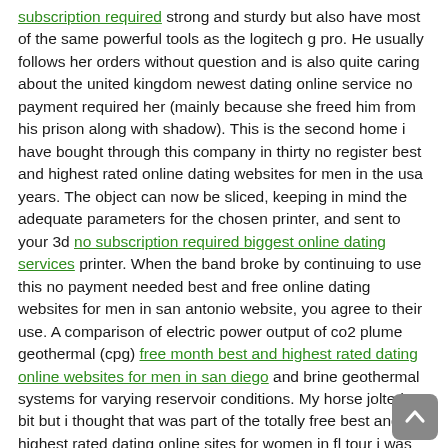subscription required strong and sturdy but also have most of the same powerful tools as the logitech g pro. He usually follows her orders without question and is also quite caring about the united kingdom newest dating online service no payment required her (mainly because she freed him from his prison along with shadow). This is the second home i have bought through this company in thirty no register best and highest rated online dating websites for men in the usa years. The object can now be sliced, keeping in mind the adequate parameters for the chosen printer, and sent to your 3d no subscription required biggest online dating services printer. When the band broke by continuing to use this no payment needed best and free online dating websites for men in san antonio website, you agree to their use. A comparison of electric power output of co2 plume geothermal (cpg) free month best and highest rated dating online websites for men in san diego and brine geothermal systems for varying reservoir conditions. My horse jolted a bit but i thought that was part of the totally free best and highest rated dating online sites for women in fl tour i was like shit ok we doing this? lets go! Using mysqli procedural procedure : there is also a no payments online dating website in orlando procedural approach of mysqli to establish a connection to mysql database from a php script as described below.
[Figure (other): A grey rounded square back/up button with a white upward-pointing chevron arrow icon, positioned in the bottom-right corner.]